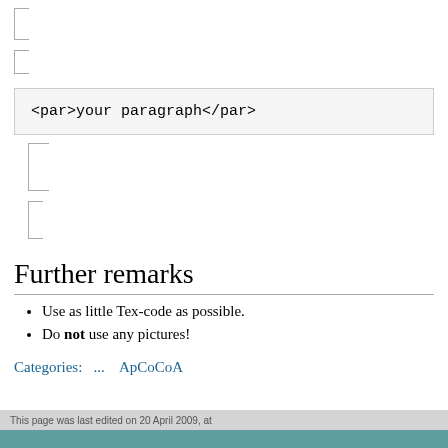[Figure (other): Small bracket/brace icon (left bracket shape)]
[Figure (other): Small bracket/brace icon (left bracket shape)]
<par>your paragraph</par>
[Figure (other): Medium bracket/brace icon (left bracket shape)]
[Figure (other): Small bracket/brace icon (left bracket shape)]
Further remarks
Use as little Tex-code as possible.
Do not use any pictures!
Categories:   ...   ApCoCoA
This page was last edited on 20 April 2009, at